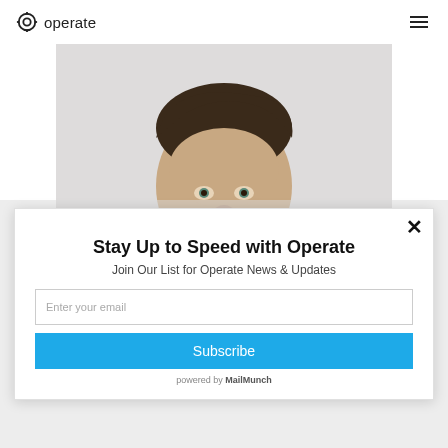operate
[Figure (photo): Portrait photo of a young man with dark swept hair and a beard, smiling, against a light background]
Stay Up to Speed with Operate
Join Our List for Operate News & Updates
Enter your email
Subscribe
powered by MailMunch